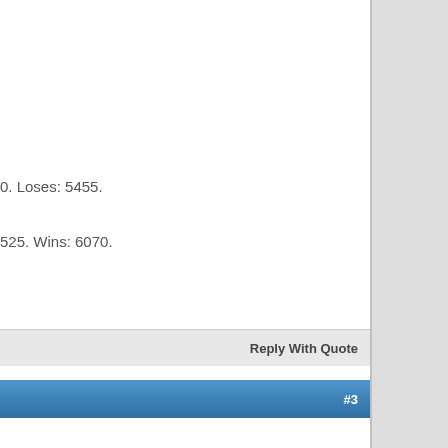0. Loses: 5455.
525. Wins: 6070.
Reply With Quote
#3